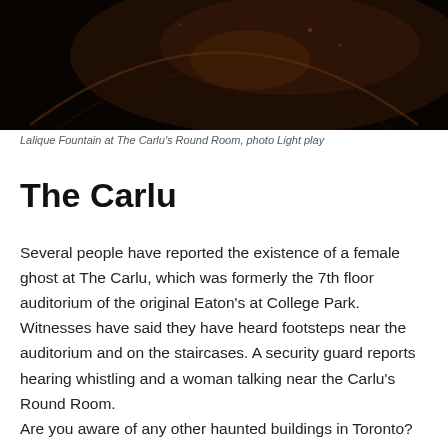[Figure (photo): Dark photograph of the Lalique Fountain at The Carlu's Round Room, showing a dimly lit interior with a curved architectural element and warm amber/brown tones against a very dark background.]
Lalique Fountain at The Carlu's Round Room, photo Light play
The Carlu
Several people have reported the existence of a female ghost at The Carlu, which was formerly the 7th floor auditorium of the original Eaton's at College Park. Witnesses have said they have heard footsteps near the auditorium and on the staircases. A security guard reports hearing whistling and a woman talking near the Carlu's Round Room.
Are you aware of any other haunted buildings in Toronto?